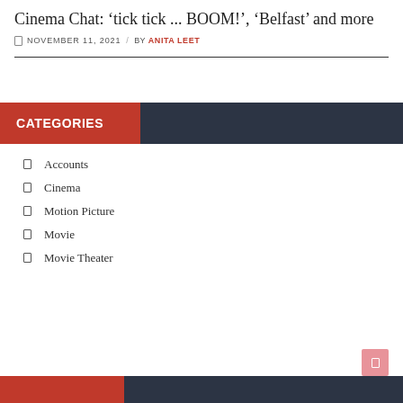Cinema Chat: 'tick tick ... BOOM!', 'Belfast' and more
NOVEMBER 11, 2021 / BY ANITA LEET
CATEGORIES
Accounts
Cinema
Motion Picture
Movie
Movie Theater